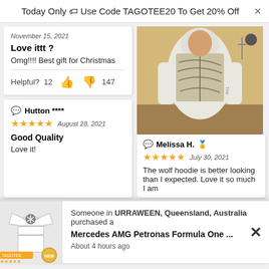Today Only 🏷 Use Code TAGOTEE20 To Get 20% Off
November 15, 2021
Love ittt ?
Omg!!!! Best gift for Christmas
Helpful? 12 👍 👎 147
[Figure (photo): Person wearing a wolf print hoodie]
Melissa H. 🏅
July 30, 2021
The wolf hoodie is better looking than I expected. Love it so much I am
Hutton ****
August 28, 2021
Good Quality
Love it!
[Figure (photo): Mercedes AMG Petronas Formula One shirt product image]
Someone in URRAWEEN, Queensland, Australia purchased a
Mercedes AMG Petronas Formula One ...
About 4 hours ago